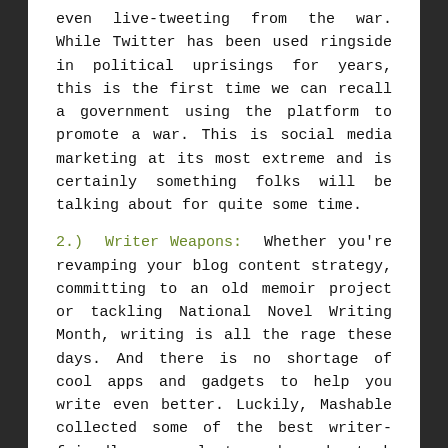even live-tweeting from the war. While Twitter has been used ringside in political uprisings for years, this is the first time we can recall a government using the platform to promote a war. This is social media marketing at its most extreme and is certainly something folks will be talking about for quite some time.
2.) Writer Weapons: Whether you're revamping your blog content strategy, committing to an old memoir project or tackling National Novel Writing Month, writing is all the rage these days. And there is no shortage of cool apps and gadgets to help you write even better. Luckily, Mashable collected some of the best writer-friendly apps last week and stuck them in an easy to use slideshow.
3.) Hell Hath No Fieri: Every once in a while,